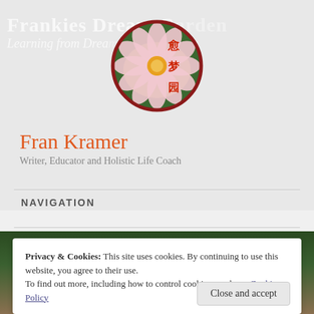Frankies Dream Garden / Learning from Dreams – What It Means
[Figure (logo): Circular logo with a pink lotus flower on green background with red Chinese characters]
Fran Kramer
Writer, Educator and Holistic Life Coach
NAVIGATION
Privacy & Cookies: This site uses cookies. By continuing to use this website, you agree to their use.
To find out more, including how to control cookies, see here: Cookie Policy
Close and accept